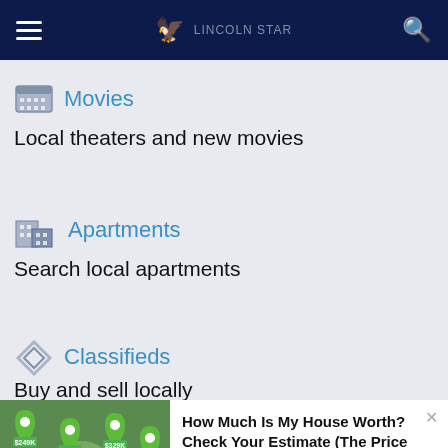Navigation bar with hamburger menu, logo, and search icon
Movies
Local theaters and new movies
Apartments
Search local apartments
Classifieds
Buy and sell locally
[Figure (screenshot): Advertisement: How Much Is My House Worth? Check Your Estimate (The Price Could... Real Estate | Search Ads | Sponsored]
Social share bar: Facebook, Twitter, Email, SMS